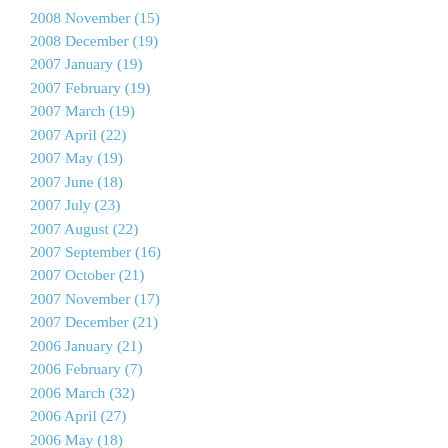2008 November (15)
2008 December (19)
2007 January (19)
2007 February (19)
2007 March (19)
2007 April (22)
2007 May (19)
2007 June (18)
2007 July (23)
2007 August (22)
2007 September (16)
2007 October (21)
2007 November (17)
2007 December (21)
2006 January (21)
2006 February (7)
2006 March (32)
2006 April (27)
2006 May (18)
2006 June (21)
2006 July (18)
2006 August (35)